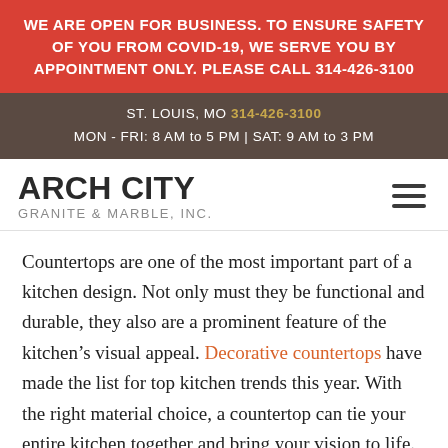WE ARE OPEN FOR BUSINESS. TO ENSURE SAFETY OF YOU FROM COVID-19, WE SERVE YOU BY APPOINTMENT ONLY. PLEASE CALL 314-426-3100
ST. LOUIS, MO 314-426-3100
MON - FRI: 8 AM to 5 PM | SAT: 9 AM to 3 PM
ARCH CITY GRANITE & MARBLE, INC.
Countertops are one of the most important part of a kitchen design. Not only must they be functional and durable, they also are a prominent feature of the kitchen’s visual appeal. Decorative countertops have made the list for top kitchen trends this year. With the right material choice, a countertop can tie your entire kitchen together and bring your vision to life.